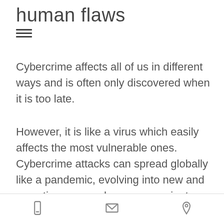human flaws
Cybercrime affects all of us in different ways and is often only discovered when it is too late.
However, it is like a virus which easily affects the most vulnerable ones. Cybercrime attacks can spread globally like a pandemic, evolving into new and sometimes more dangerous variants that can be difficult to contain.
[phone icon] [email icon] [location icon]